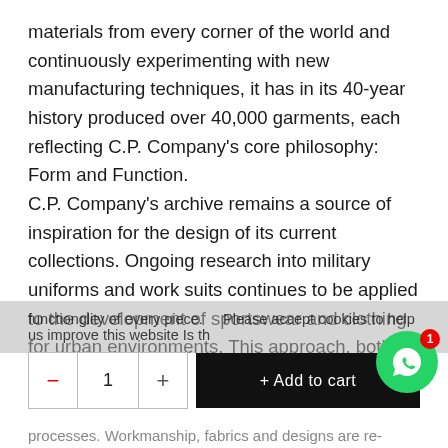materials from every corner of the world and continuously experimenting with new manufacturing techniques, it has in its 40-year history produced over 40,000 garments, each reflecting C.P. Company's core philosophy: Form and Function.
C.P. Company's archive remains a source of inspiration for the design of its current collections. Ongoing research into military uniforms and work suits continues to be applied to the development of sportswear and clothing for urban environments. This approach, both innovative and anti-conformist, underlies the C.P. Company ethos today as experimentation has been expanded to introduce new technical properties and details that enhance the
functionglity of every piece.
Please accept cookies to help us improve this website Is th
processes. Workmanship, fabrics and designs are re-